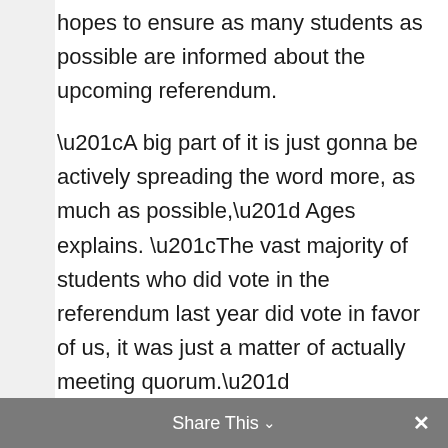hopes to ensure as many students as possible are informed about the upcoming referendum.
“A big part of it is just gonna be actively spreading the word more, as much as possible,” Ages explains. “The vast majority of students who did vote in the referendum last year did vote in favor of us, it was just a matter of actually meeting quorum.”
For a small financial change to individual students, Ages stated that this vote will have a big impact on the greater UVic
Share This